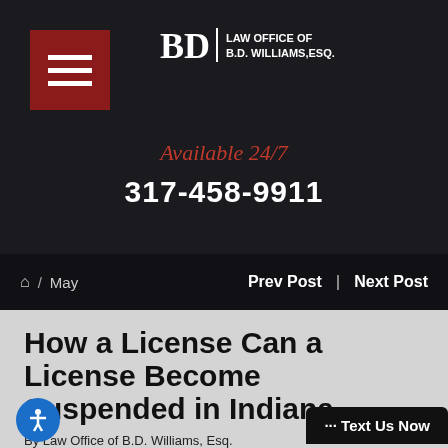[Figure (logo): Law Office of B.D. Williams, Esq. logo with hamburger menu button on dark background]
Available 24/7
317-458-9911
🏠 / May   Prev Post | Next Post
How a License Can a License Become Suspended in Indiana
By Law Office of B.D. Williams, Esq.
23, 2021